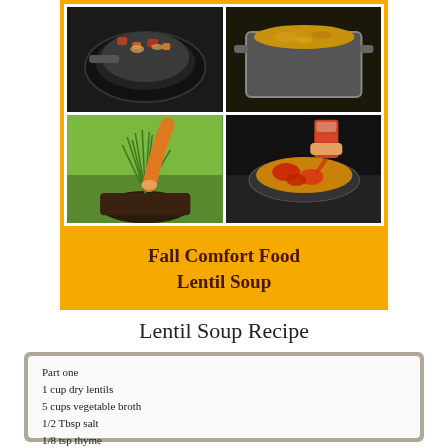[Figure (photo): Collage of four cooking/gardening photos on orange background: top-left shows vegetables cooking in a cast iron skillet, top-right shows a pot of soup/broth, bottom-left shows a child picking herbs from a pot of chives/grass, bottom-right shows tomatoes being added to a pot of lentil soup on a stove.]
Fall Comfort Food
Lentil Soup
Lentil Soup Recipe
Part one
1 cup dry lentils
5 cups vegetable broth
1/2 Tbsp salt
1/8 tsp thyme
1/8 tsp oregano